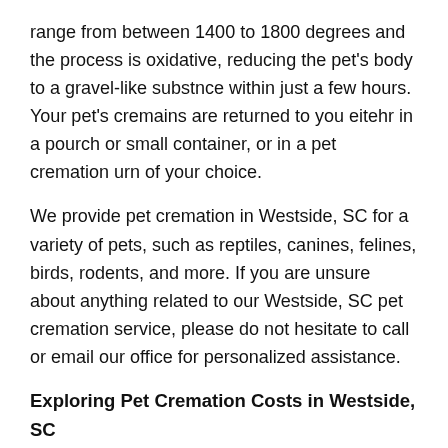range from between 1400 to 1800 degrees and the process is oxidative, reducing the pet's body to a gravel-like substnce within just a few hours. Your pet's cremains are returned to you eitehr in a pourch or small container, or in a pet cremation urn of your choice.
We provide pet cremation in Westside, SC for a variety of pets, such as reptiles, canines, felines, birds, rodents, and more. If you are unsure about anything related to our Westside, SC pet cremation service, please do not hesitate to call or email our office for personalized assistance.
Exploring Pet Cremation Costs in Westside, SC
Contact our office for a Westside, SC pet cremation quote with no obligation. We price pet cremations in Westside, SC based on several factors including pickup location, the pet's see, whether you opt for a communal or private cremation, and whether or not you are buying additional items, including memorial cremation jewelry, a pet cremation urn,